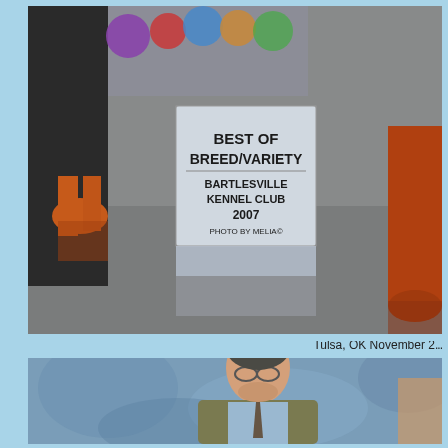[Figure (photo): Dog show photo showing a dog's legs and a trophy/award sign reading 'BEST OF BREED/VARIETY BARTLESVILLE KENNEL CLUB 2007 PHOTO BY MELIA'. The dog appears to be a Doberman with rust-colored legs visible on a gray floor.]
Tulsa, OK November 2...
[Figure (photo): Photo of an elderly man in a tan/olive blazer and light blue shirt with glasses, looking downward, against a blue mottled background. Another person partially visible on the right edge.]